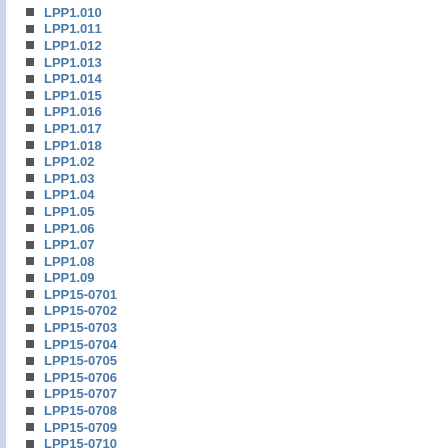LPP1.010
LPP1.011
LPP1.012
LPP1.013
LPP1.014
LPP1.015
LPP1.016
LPP1.017
LPP1.018
LPP1.02
LPP1.03
LPP1.04
LPP1.05
LPP1.06
LPP1.07
LPP1.08
LPP1.09
LPP15-0701
LPP15-0702
LPP15-0703
LPP15-0704
LPP15-0705
LPP15-0706
LPP15-0707
LPP15-0708
LPP15-0709
LPP15-0710